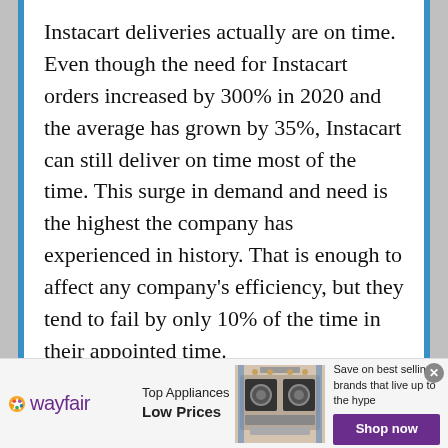Instacart deliveries actually are on time. Even though the need for Instacart orders increased by 300% in 2020 and the average has grown by 35%, Instacart can still deliver on time most of the time. This surge in demand and need is the highest the company has experienced in history. That is enough to affect any company's efficiency, but they tend to fail by only 10% of the time in their appointed time.

To cooperate with the ever-increasing
[Figure (other): Wayfair advertisement banner. Shows Wayfair logo, 'Top Appliances Low Prices' text, image of a stove/range appliance, and 'Save on best selling brands that live up to the hype' with a purple 'Shop now' button. A close (x) button is in the top right.]